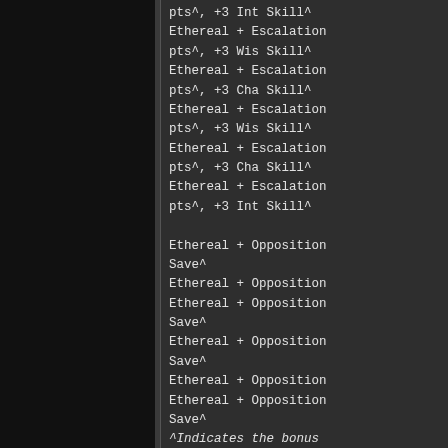pts^, +3 Int Skill^
Ethereal + Escalation
pts^, +3 Wis Skill^
Ethereal + Escalation
pts^, +3 Cha Skill^
Ethereal + Escalation
pts^, +3 Wis Skill^
Ethereal + Escalation
pts^, +3 Cha Skill^
Ethereal + Escalation
pts^, +3 Int Skill^

Ethereal + Opposition
Save^
Ethereal + Opposition
Ethereal + Opposition
Save^
Ethereal + Opposition
Save^
Ethereal + Opposition
Ethereal + Opposition
Save^

^Indicates the bonus
"Insight Bonus does n
*Regeneration does no
*Regeneration require
Frient, Finger Neckla